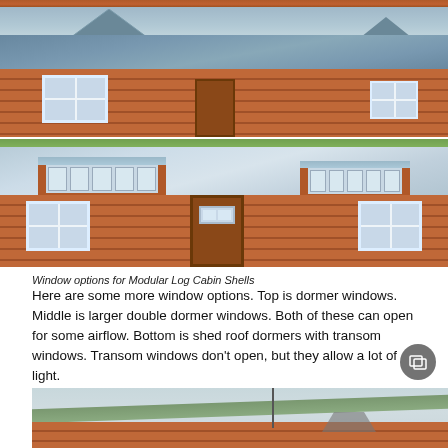[Figure (photo): Partial top of a log cabin building — bottom strip of image only visible]
[Figure (photo): Log cabin exterior showing dormer windows on a metal roof, red/brown log siding]
[Figure (photo): Log cabin exterior showing shed roof dormers with transom windows on a silver metal roof, front door visible]
Window options for Modular Log Cabin Shells
Here are some more window options. Top is dormer windows. Middle is larger double dormer windows. Both of these can open for some airflow. Bottom is shed roof dormers with transom windows. Transom windows don't open, but they allow a lot of light.
[Figure (photo): Partial bottom photo of log cabin with green metal roof, winter scene with bare trees]